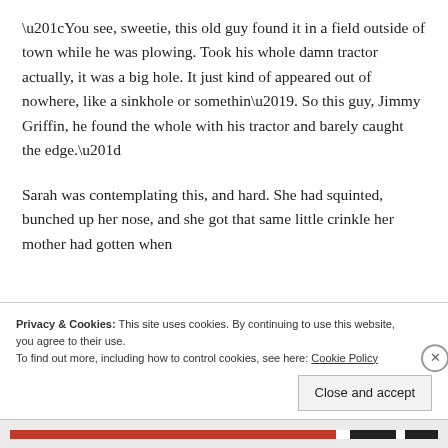“You see, sweetie, this old guy found it in a field outside of town while he was plowing. Took his whole damn tractor actually, it was a big hole. It just kind of appeared out of nowhere, like a sinkhole or somethin’. So this guy, Jimmy Griffin, he found the whole with his tractor and barely caught the edge.”
Sarah was contemplating this, and hard. She had squinted, bunched up her nose, and she got that same little crinkle her mother had gotten when
Privacy & Cookies: This site uses cookies. By continuing to use this website, you agree to their use.
To find out more, including how to control cookies, see here: Cookie Policy
Close and accept